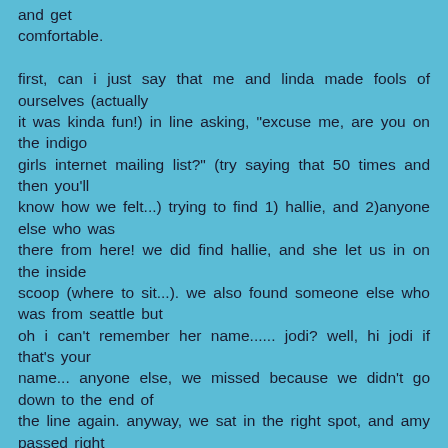and get comfortable.

first, can i just say that me and linda made fools of ourselves (actually it was kinda fun!) in line asking, "excuse me, are you on the indigo girls internet mailing list?" (try saying that 50 times and then you'll know how we felt...) trying to find 1) hallie, and 2)anyone else who was there from here! we did find hallie, and she let us in on the inside scoop (where to sit...). we also found someone else who was from seattle but oh i can't remember her name...... jodi? well, hi jodi if that's your name... anyone else, we missed because we didn't go down to the end of the line again. anyway, we sat in the right spot, and amy passed right by us!!!!!  within 2 feet!!!!!! neither me nor linda touched her, but she grabbed my friend leah's hand.... and this after she (leah) made jokes